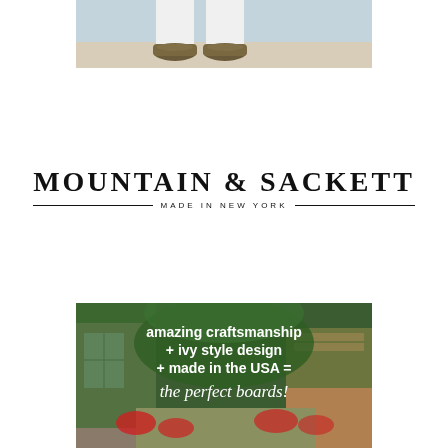[Figure (photo): Close-up photo of a person wearing brown leather loafers and white trousers, shot from waist down on a beach]
[Figure (logo): Mountain & Sackett brand logo with text 'MADE IN NEW YORK' below, flanked by horizontal lines]
[Figure (photo): Photo of an ivy-covered building exterior with garden and red flowers, overlaid with white text reading 'amazing craftsmanship + ivy style design + made in the USA = the perfect boards!']